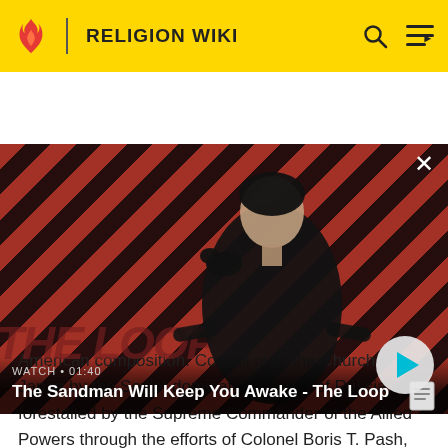RELIGION WIKI
[Figure (screenshot): Video thumbnail showing a person in dark clothing with a raven on their shoulder against a red diagonal striped background. Title: 'The Sandman Will Keep You Awake - The Loop'. Watch time: 01:40. Play button visible.]
American composition. Control over the Church of Japan by the Soviet dominated Church of Russia was forestalled by the Supreme Commander of the Allied Powers through the efforts of Colonel Boris T. Pash, who was the son of Metr. Theodosius (Pashkovsky) of the American Metropolia.[2] As the majority of the Slavic and Greek...